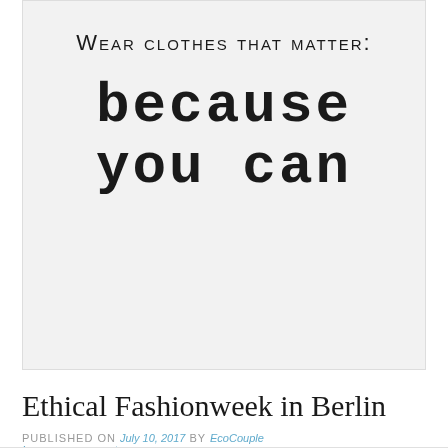[Figure (illustration): Light gray image block with text 'Wear clothes that matter:' in small-caps at top and 'BECAUSE YOU CAN' in large bold monospace font below, on a light gray background.]
Ethical Fashionweek in Berlin
PUBLISHED ON July 10, 2017 by EcoCouple
Leave a comment